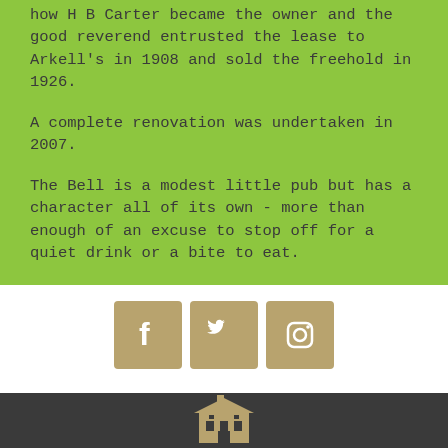how H B Carter became the owner and the good reverend entrusted the lease to Arkell's in 1908 and sold the freehold in 1926.
A complete renovation was undertaken in 2007.
The Bell is a modest little pub but has a character all of its own - more than enough of an excuse to stop off for a quiet drink or a bite to eat.
[Figure (logo): Three social media icons (Facebook, Twitter, Instagram) on gold/tan square backgrounds]
[Figure (logo): Arkell's brewery building logo illustration in gold/tan on dark gray footer background]